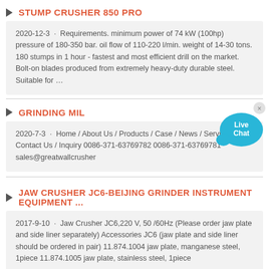STUMP CRUSHER 850 PRO
2020-12-3 · Requirements. minimum power of 74 kW (100hp) pressure of 180-350 bar. oil flow of 110-220 l/min. weight of 14-30 tons. 180 stumps in 1 hour - fastest and most efficient drill on the market. Bolt-on blades produced from extremely heavy-duty durable steel. Suitable for …
GRINDING MIL
2020-7-3 · Home / About Us / Products / Case / News / Service / Contact Us / Inquiry 0086-371-63769782 0086-371-63769781 sales@greatwallcrusher
JAW CRUSHER JC6-BEIJING GRINDER INSTRUMENT EQUIPMENT ...
2017-9-10 · Jaw Crusher JC6,220 V, 50 /60Hz (Please order jaw plate and side liner separately) Accessories JC6 (jaw plate and side liner should be ordered in pair) 11.874.1004 jaw plate, manganese steel, 1piece 11.874.1005 jaw plate, stainless steel, 1piece